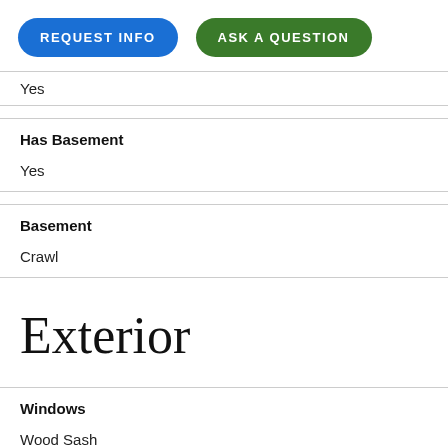[Figure (other): Two pill-shaped buttons: 'REQUEST INFO' (blue) and 'ASK A QUESTION' (green)]
Yes
Has Basement
Yes
Basement
Crawl
Exterior
Windows
Wood Sash